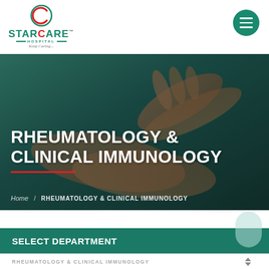[Figure (logo): Starcare Hospital logo with circular C icon, green and red text, tagline Keep Caring...]
[Figure (photo): Hero image of hands, possibly a medical examination of hand/wrist, with dark overlay and white bold title text RHEUMATOLOGY & CLINICAL IMMUNOLOGY and red underline]
RHEUMATOLOGY & CLINICAL IMMUNOLOGY
Home / RHEUMATOLOGY & CLINICAL IMMUNOLOGY
SELECT DEPARTMENT
RHEUMATOLOGY & CLINICAL IMMUNOLOGY